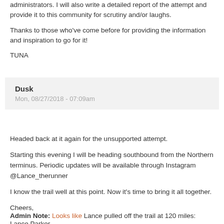administrators. I will also write a detailed report of the attempt and provide it to this community for scrutiny and/or laughs.
Thanks to those who've come before for providing the information and inspiration to go for it!
TUNA
Dusk
Mon, 08/27/2018 - 07:09am
Headed back at it again for the unsupported attempt.
Starting this evening I will be heading southbound from the Northern terminus. Periodic updates will be available through Instagram @Lance_therunner
I know the trail well at this point. Now it's time to bring it all together.
Cheers,
Lance Parker
Admin Note: Looks like Lance pulled off the trail at 120 miles: